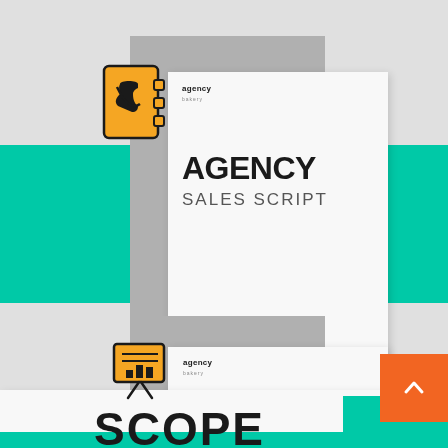[Figure (illustration): Agency Sales Script document cover with phone icon, teal sidebar blocks, gray background card, and white foreground card showing 'AGENCY SALES SCRIPT' text with agency bakery logo]
AGENCY
SALES SCRIPT
[Figure (illustration): Second document cover partially visible at bottom with presentation/chart icon, agency bakery logo, and partial 'SCOPE' text, with orange back-to-top button]
SCOPE